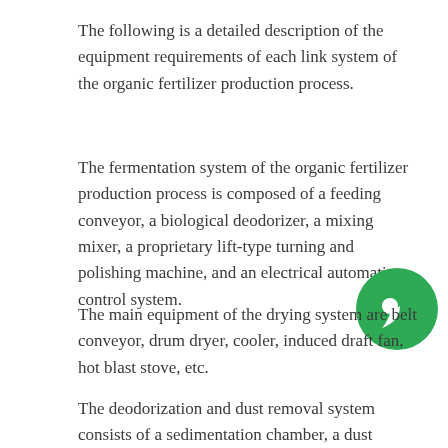The following is a detailed description of the equipment requirements of each link system of the organic fertilizer production process.
The fermentation system of the organic fertilizer production process is composed of a feeding conveyor, a biological deodorizer, a mixing mixer, a proprietary lift-type turning and polishing machine, and an electrical automatic control system.
The main equipment of the drying system are belt conveyor, drum dryer, cooler, induced draft fan, hot blast stove, etc.
The deodorization and dust removal system consists of a sedimentation chamber, a dust removal chamber, etc.